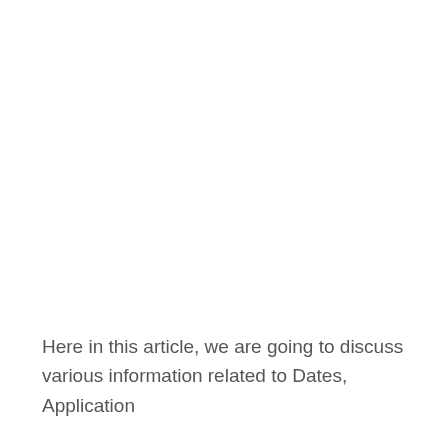Here in this article, we are going to discuss various information related to Dates, Application